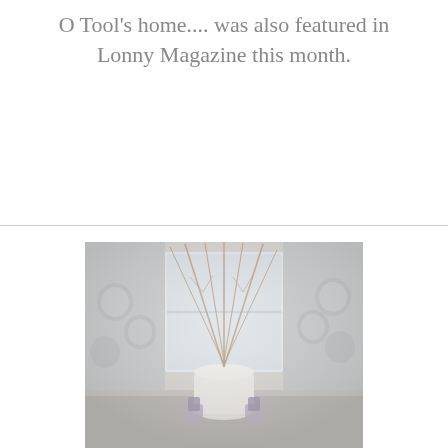O Tool's home.... was also featured in Lonny Magazine this month.
[Figure (photo): Interior home photo showing a large white vase with tall dried branches/twigs, decorative plates hung on a light blue-grey wall, lavender bunches, and a bright window in the background. The scene appears to be a kitchen or dining area with a clean, airy aesthetic.]